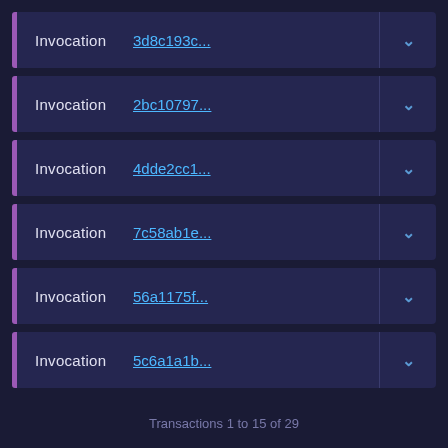Invocation 3d8c193c...
Invocation 2bc10797...
Invocation 4dde2cc1...
Invocation 7c58ab1e...
Invocation 56a1175f...
Invocation 5c6a1a1b...
Transactions 1 to 15 of 29